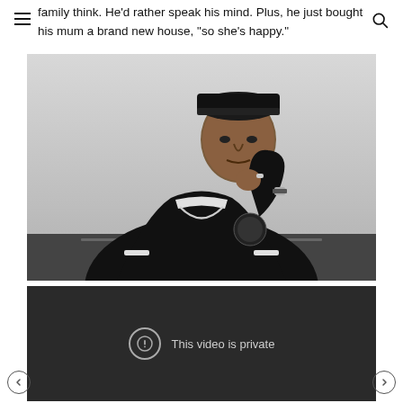family think. He'd rather speak his mind. Plus, he just bought his mum a brand new house, “so she’s happy.”
[Figure (photo): Black and white portrait of a young man wearing a dark varsity/bomber jacket and a flat cap, sitting at a table with his hand raised to his chin in a contemplative pose. He is wearing a chain necklace and a ring. The background is plain light grey.]
[Figure (screenshot): Dark video player placeholder with a circular exclamation mark icon and the text 'This video is private']